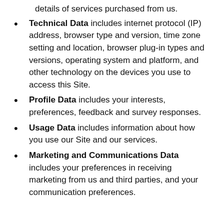details of services purchased from us.
Technical Data includes internet protocol (IP) address, browser type and version, time zone setting and location, browser plug-in types and versions, operating system and platform, and other technology on the devices you use to access this Site.
Profile Data includes your interests, preferences, feedback and survey responses.
Usage Data includes information about how you use our Site and our services.
Marketing and Communications Data includes your preferences in receiving marketing from us and third parties, and your communication preferences.